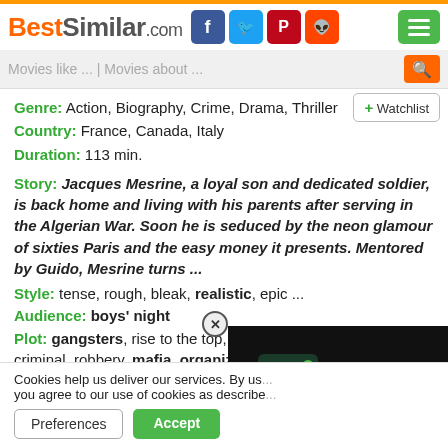BestSimilar.com
Movies like ... | Movies about ...
Genre: Action, Biography, Crime, Drama, Thriller
Country: France, Canada, Italy
Duration: 113 min.
Story: Jacques Mesrine, a loyal son and dedicated soldier, is back home and living with his parents after serving in the Algerian War. Soon he is seduced by the neon glamour of sixties Paris and the easy money it presents. Mentored by Guido, Mesrine turns ...
Style: tense, rough, bleak, realistic, epic ...
Audience: boys' night
Plot: gangsters, rise to the top, against the rules, romancing a criminal, robbery, mafia, organized heroes, prison life, ambition, mob b...
Cookies help us deliver our services. By us... you agree to our use of cookies as describe...